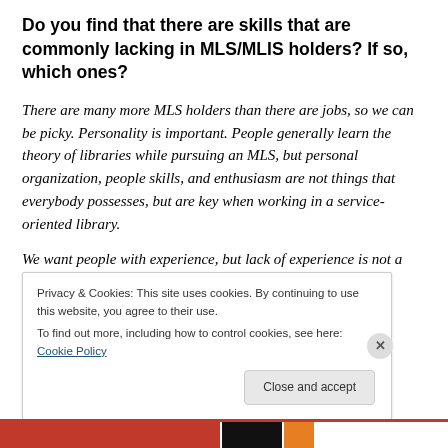Do you find that there are skills that are commonly lacking in MLS/MLIS holders? If so, which ones?
There are many more MLS holders than there are jobs, so we can be picky. Personality is important. People generally learn the theory of libraries while pursuing an MLS, but personal organization, people skills, and enthusiasm are not things that everybody possesses, but are key when working in a service-oriented library.
We want people with experience, but lack of experience is not a dealbreaker. However. if someone received an MLS
Privacy & Cookies: This site uses cookies. By continuing to use this website, you agree to their use.
To find out more, including how to control cookies, see here: Cookie Policy